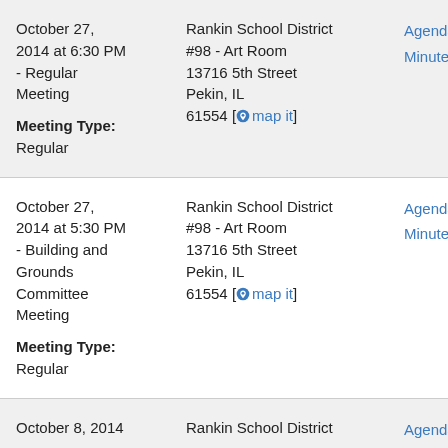October 27, 2014 at 6:30 PM - Regular Meeting
Meeting Type: Regular
Rankin School District #98 - Art Room
13716 5th Street
Pekin, IL
61554 [map it]
Agenda
Minutes
October 27, 2014 at 5:30 PM - Building and Grounds Committee Meeting
Meeting Type: Regular
Rankin School District #98 - Art Room
13716 5th Street
Pekin, IL
61554 [map it]
Agenda
Minutes
October 8, 2014
Rankin School District
Agenda